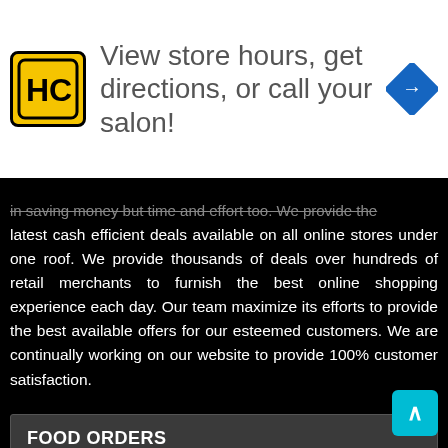[Figure (screenshot): Advertisement banner for HairClub: yellow logo with HC letters, text 'View store hours, get directions, or call your salon!', blue diamond arrow icon on right]
...in saving money but time and effort too. We provide the latest cash efficient deals available on all online stores under one roof. We provide thousands of deals over hundreds of retail merchants to furnish the best online shopping experience each day. Our team maximize its efforts to provide the best available offers for our esteemed customers. We are continually working on our website to provide 100% customer satisfaction.
FOOD ORDERS
Swiggy Coupons
Zomato Coupons
Dominos Coupons